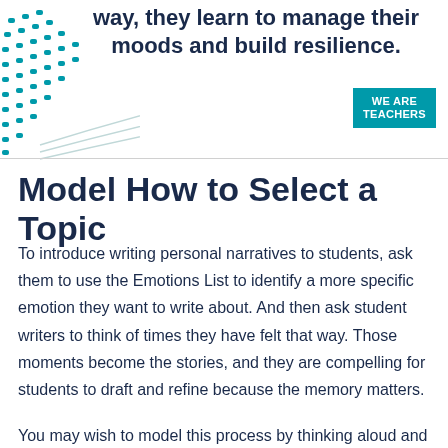way, they learn to manage their moods and build resilience.
[Figure (logo): WeAreTeachers teal badge logo in top right corner]
[Figure (illustration): Teal decorative dot pattern and curved lines in top left corner]
Model How to Select a Topic
To introduce writing personal narratives to students, ask them to use the Emotions List to identify a more specific emotion they want to write about. And then ask student writers to think of times they have felt that way. Those moments become the stories, and they are compelling for students to draft and refine because the memory matters.
You may wish to model this process by thinking aloud and